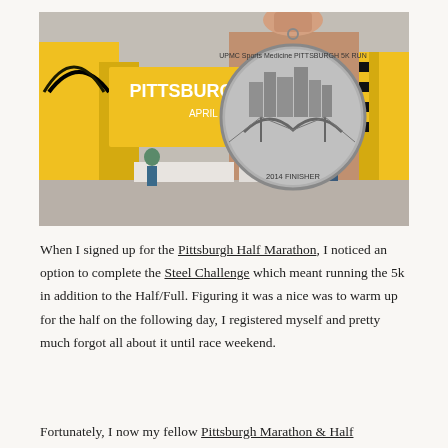[Figure (photo): A hand holding up a Pittsburgh 5K Run finisher medal (UPMC Sports Medicine Pittsburgh 5K Run, 2014 Finisher) with an engraved Pittsburgh cityscape and bridge. In the background is a yellow Pittsburgh 5K Run event setup with signage, banners, and people.]
When I signed up for the Pittsburgh Half Marathon, I noticed an option to complete the Steel Challenge which meant running the 5k in addition to the Half/Full. Figuring it was a nice was to warm up for the half on the following day, I registered myself and pretty much forgot all about it until race weekend.
Fortunately, I now my fellow Pittsburgh Marathon & Half